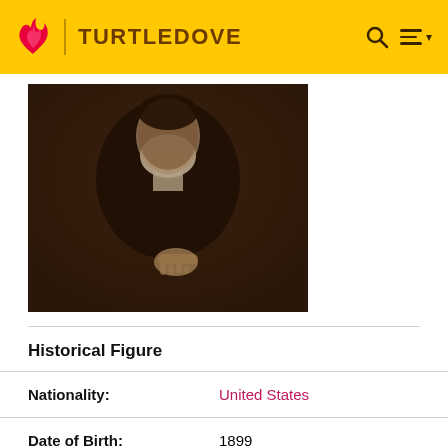TURTLEDOVE
[Figure (photo): Sepia-toned historical portrait photograph of a person in dark clothing with white collar, one hand visible resting in front]
Historical Figure
| Nationality: | United States |
| Date of Birth: | 1899 |
| Date of Death: | 1961 |
| Cause of Death: | Suicide by firearm |
| Religion: | Briefly a convert to Catholicism |